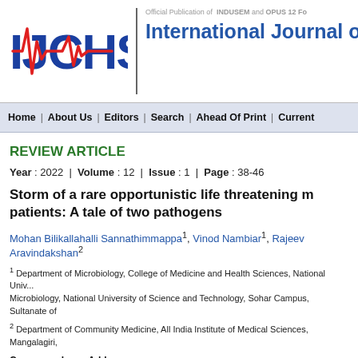[Figure (logo): IJCHS journal logo with heartbeat line graphic in red/blue]
Official Publication of INDUSEM and OPUS 12 Fo...
International Journal of C...
Home | About Us | Editors | Search | Ahead Of Print | Current
REVIEW ARTICLE
Year : 2022 | Volume : 12 | Issue : 1 | Page : 38-46
Storm of a rare opportunistic life threatening m... patients: A tale of two pathogens
Mohan Bilikallahalli Sannathimmappa1, Vinod Nambiar1, Rajeev Aravindakshan2
1 Department of Microbiology, College of Medicine and Health Sciences, National Univ... Microbiology, National University of Science and Technology, Sohar Campus, Sultanate of...
2 Department of Community Medicine, All India Institute of Medical Sciences, Mangalagiri,...
Correspondence Address:
Dr. Mohan Bilikallahalli Sannathimmappa
Department of Microbiology, College of Medicine and Health Sciences, National Univers...